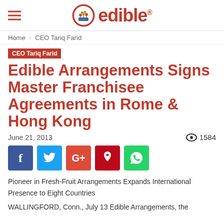edible
Home › CEO Tariq Farid
CEO Tariq Farid
Edible Arrangements Signs Master Franchisee Agreements in Rome & Hong Kong
June 21, 2013   👁 1584
[Figure (infographic): Social share buttons: Facebook, Twitter, Google+, Pinterest, WhatsApp]
Pioneer in Fresh-Fruit Arrangements Expands International Presence to Eight Countries
WALLINGFORD, Conn., July 13 Edible Arrangements, the